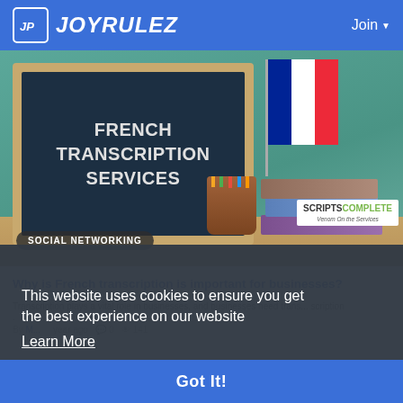JOYRULEZ | Join
[Figure (photo): Hero image showing a chalkboard with 'FRENCH TRANSCRIPTION SERVICES' text, a French flag, pencil holder, and stacked books. ScriptsComplete watermark visible. Social Networking tag overlay.]
Why is French transcription is important for businesses?
Transcription plays a vital role in businesses, and businesses need transcription services for making their work easier. French transcription
This website uses cookies to ensure you get the best experience on our website
Learn More
Got It!
[Figure (infographic): Bottom advertisement banner split into blue left section with 'ILOVE' text and red right section with 'Female UP' and 'Tadalafil 20mg Tablet' text]